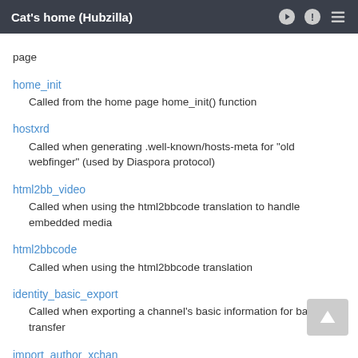Cat's home (Hubzilla)
page
home_init
Called from the home page home_init() function
hostxrd
Called when generating .well-known/hosts-meta for "old webfinger" (used by Diaspora protocol)
html2bb_video
Called when using the html2bbcode translation to handle embedded media
html2bbcode
Called when using the html2bbcode translation
identity_basic_export
Called when exporting a channel's basic information for backup or transfer
import_author_xchan